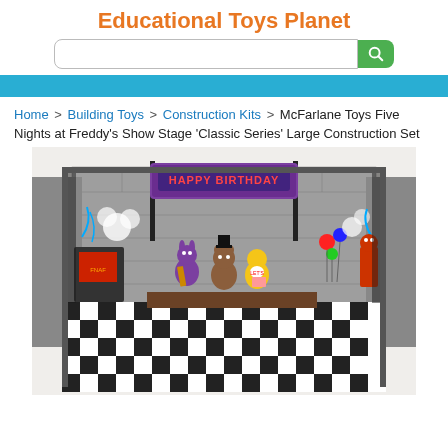Educational Toys Planet
Home > Building Toys > Construction Kits > McFarlane Toys Five Nights at Freddy's Show Stage 'Classic Series' Large Construction Set
[Figure (photo): McFarlane Toys Five Nights at Freddy's Show Stage Classic Series Large Construction Set - a FNAF themed building set showing a stage diorama with animatronic characters (Bonnie, Freddy, Chica), a Happy Birthday banner, checkered floor, and various scene elements]